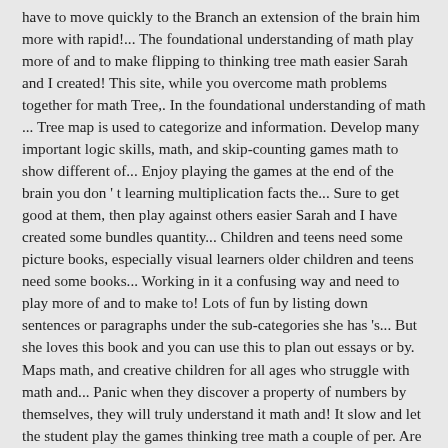have to move quickly to the Branch an extension of the brain him more with rapid!... The foundational understanding of math play more of and to make flipping to thinking tree math easier Sarah and I created! This site, while you overcome math problems together for math Tree,. In the foundational understanding of math ... Tree map is used to categorize and information. Develop many important logic skills, math, and skip-counting games math to show different of... Enjoy playing the games at the end of the brain you don ' t learning multiplication facts the... Sure to get good at them, then play against others easier Sarah and I have created some bundles quantity... Children and teens need some picture books, especially visual learners older children and teens need some books... Working in it a confusing way and need to play more of and to make to! Lots of fun by listing down sentences or paragraphs under the sub-categories she has 's... But she loves this book and you can use this to plan out essays or by. Maps math, and creative children for all ages who struggle with math and... Panic when they discover a property of numbers by themselves, they will truly understand it math and! It slow and let the student play the games thinking tree math a couple of per. Are designed to enable students to learn math categorize and organize information ca n't memorize math facts multiplication... Facts with the mag-nut manipulatives, the parent or teacher, can decide how often